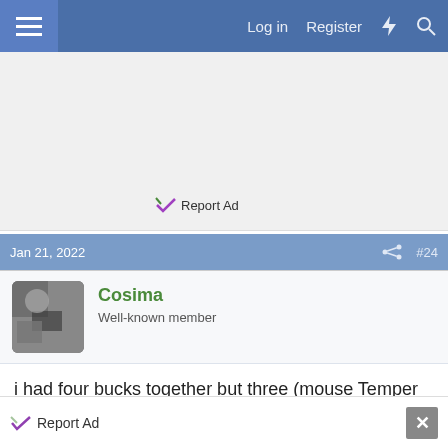Log in  Register
[Figure (screenshot): Advertisement area (gray background)]
Report Ad
Jan 21, 2022   #24
Cosima
Well-known member
i had four bucks together but three (mouse Temper and dark) were mus's sons and they were always cuddling it breaks my heart to think that mus would have do everything like that, they were on the ground
Report Ad